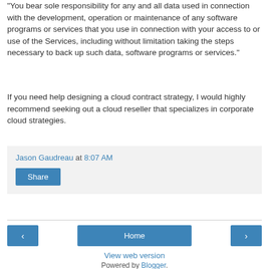"You bear sole responsibility for any and all data used in connection with the development, operation or maintenance of any software programs or services that you use in connection with your access to or use of the Services, including without limitation taking the steps necessary to back up such data, software programs or services."
If you need help designing a cloud contract strategy, I would highly recommend seeking out a cloud reseller that specializes in corporate cloud strategies.
Jason Gaudreau at 8:07 AM
Share
‹
Home
›
View web version
Powered by Blogger.